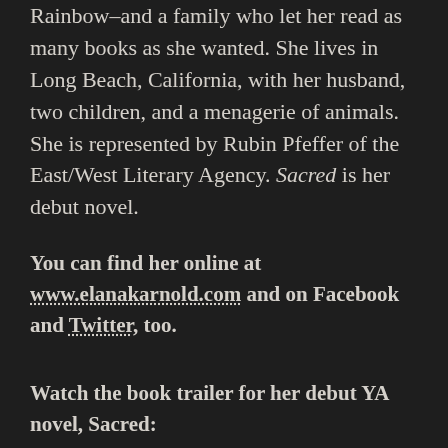Rainbow–and a family who let her read as many books as she wanted. She lives in Long Beach, California, with her husband, two children, and a menagerie of animals. She is represented by Rubin Pfeffer of the East/West Literary Agency. Sacred is her debut novel.
You can find her online at www.elanakarnold.com and on Facebook and Twitter, too.
Watch the book trailer for her debut YA novel, Sacred: